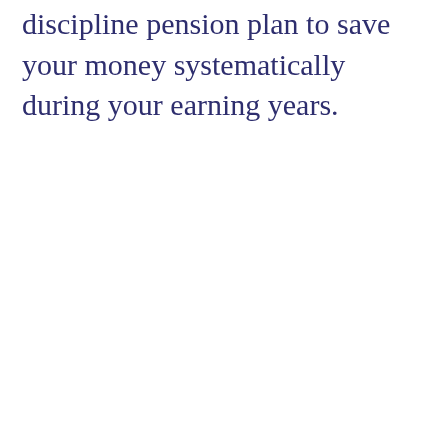discipline pension plan to save your money systematically during your earning years.